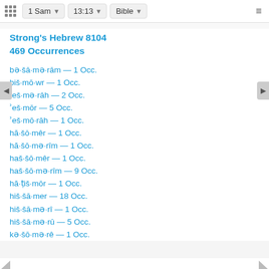1 Sam  13:13  Bible
Strong's Hebrew 8104
469 Occurrences
bə·šā·mə·rām — 1 Occ.
biš·mō·wr — 1 Occ.
ʾeš·mə·rāh — 2 Occ.
ʾeš·mōr — 5 Occ.
ʾeš·mō·rāh — 1 Occ.
hă·šō·mêr — 1 Occ.
hă·šō·mə·rîm — 1 Occ.
haš·šō·mêr — 1 Occ.
haš·šō·mə·rîm — 9 Occ.
hă·ṭiš·mōr — 1 Occ.
hiš·šā·mer — 18 Occ.
hiš·šā·mə·rî — 1 Occ.
hiš·šā·mə·rū — 5 Occ.
kə·šō·mə·rê — 1 Occ.